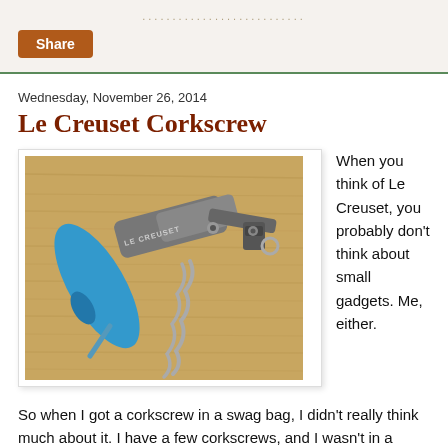Share
Wednesday, November 26, 2014
Le Creuset Corkscrew
[Figure (photo): A Le Creuset corkscrew with a blue handle and stainless steel body lying on a bamboo cutting board]
When you think of Le Creuset, you probably don't think about small gadgets. Me, either.
So when I got a corkscrew in a swag bag, I didn't really think much about it. I have a few corkscrews, and I wasn't in a